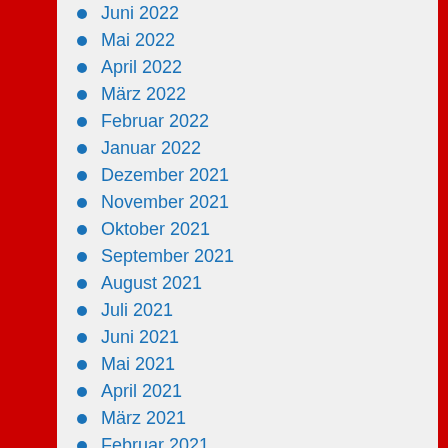Juni 2022
Mai 2022
April 2022
März 2022
Februar 2022
Januar 2022
Dezember 2021
November 2021
Oktober 2021
September 2021
August 2021
Juli 2021
Juni 2021
Mai 2021
April 2021
März 2021
Februar 2021
Januar 2021
Dezember 2020
November 2020
Oktober 2020
September 2020